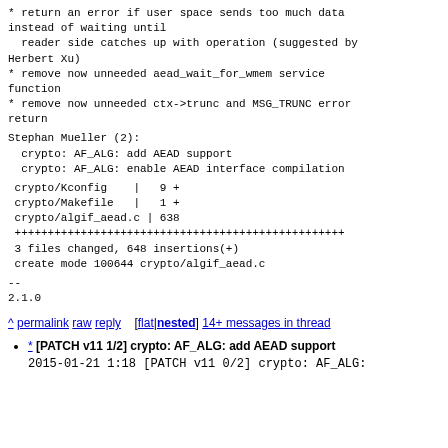* return an error if user space sends too much data instead of waiting until
  reader side catches up with operation (suggested by Herbert Xu)
* remove now unneeded aead_wait_for_wmem service function
* remove now unneeded ctx->trunc and MSG_TRUNC error return
Stephan Mueller (2):
  crypto: AF_ALG: add AEAD support
  crypto: AF_ALG: enable AEAD interface compilation
crypto/Kconfig    |   9 +
crypto/Makefile   |   1 +
crypto/algif_aead.c | 638
++++++++++++++++++++++++++++++++++++++++++++++++++
 3 files changed, 648 insertions(+)
 create mode 100644 crypto/algif_aead.c
--
2.1.0
^ permalink raw reply   [flat|nested] 14+ messages in thread
* [PATCH v11 1/2] crypto: AF_ALG: add AEAD support
2015-01-21  1:18 [PATCH v11 0/2] crypto: AF_ALG: